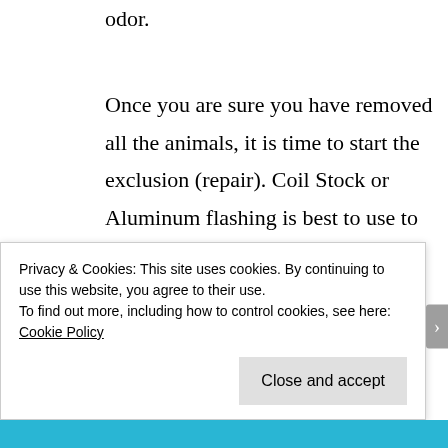odor.
Once you are sure you have removed all the animals, it is time to start the exclusion (repair). Coil Stock or Aluminum flashing is best to use to cover an hole in the fascia. It is best to spray the hole and area with 70% isopropyl Alcohol. This will kill spores and
Privacy & Cookies: This site uses cookies. By continuing to use this website, you agree to their use.
To find out more, including how to control cookies, see here: Cookie Policy